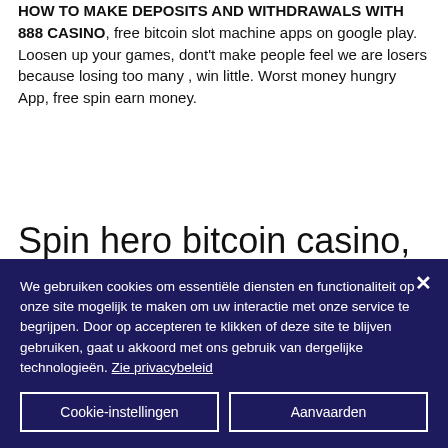HOW TO MAKE DEPOSITS AND WITHDRAWALS WITH 888 CASINO, free bitcoin slot machine apps on google play. Loosen up your games, dont't make people feel we are losers because losing too many , win little. Worst money hungry App, free spin earn money.
Spin hero bitcoin casino, where i can buy a slot machine
We gebruiken cookies om essentiële diensten en functionaliteit op onze site mogelijk te maken om uw interactie met onze service te begrijpen. Door op accepteren te klikken of deze site te blijven gebruiken, gaat u akkoord met ons gebruik van dergelijke technologieën. Zie privacybeleid